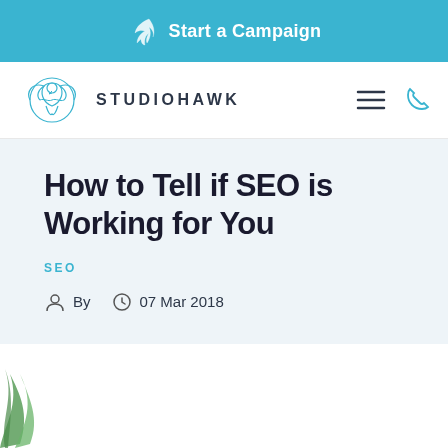Start a Campaign
[Figure (logo): StudioHawk logo with hawk illustration and navigation icons]
How to Tell if SEO is Working for You
SEO
By   07 Mar 2018
[Figure (photo): Bottom image area with green leaf plant visible at lower left]